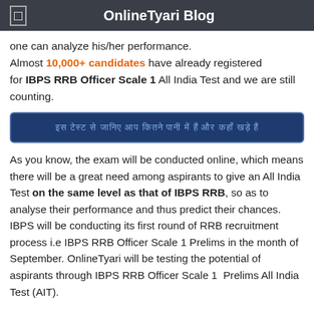OnlineTyari Blog
one can analyze his/her performance. Almost 10,000+ candidates have already registered for IBPS RRB Officer Scale 1 All India Test and we are still counting.
[Figure (other): Dark blue button with Hindi text for IBPS RRB Officer Scale 1 All India Test registration]
As you know, the exam will be conducted online, which means there will be a great need among aspirants to give an All India Test on the same level as that of IBPS RRB, so as to analyse their performance and thus predict their chances. IBPS will be conducting its first round of RRB recruitment process i.e IBPS RRB Officer Scale 1 Prelims in the month of September. OnlineTyari will be testing the potential of aspirants through IBPS RRB Officer Scale 1 Prelims All India Test (AIT).